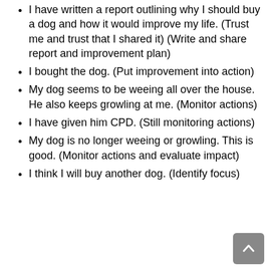I have written a report outlining why I should buy a dog and how it would improve my life. (Trust me and trust that I shared it) (Write and share report and improvement plan)
I bought the dog. (Put improvement into action)
My dog seems to be weeing all over the house. He also keeps growling at me. (Monitor actions)
I have given him CPD. (Still monitoring actions)
My dog is no longer weeing or growling. This is good. (Monitor actions and evaluate impact)
I think I will buy another dog. (Identify focus)